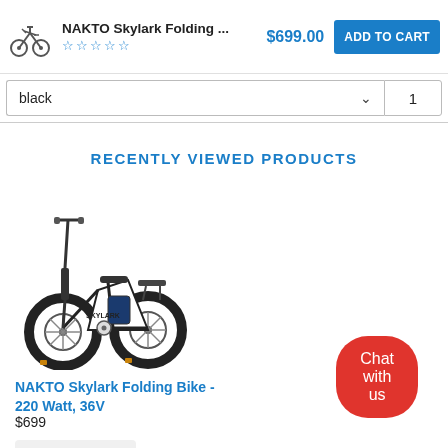[Figure (screenshot): NAKTO Skylark folding e-bike product header with icon, star rating, price $699.00 and ADD TO CART button]
black  ∨  1
RECENTLY VIEWED PRODUCTS
[Figure (photo): NAKTO Skylark folding electric bike, white frame with black fat tires, folded handlebar upright, SKYLARK text on frame]
NAKTO Skylark Folding Bike - 220 Watt, 36V
$699
Add to cart ▼
Chat with us